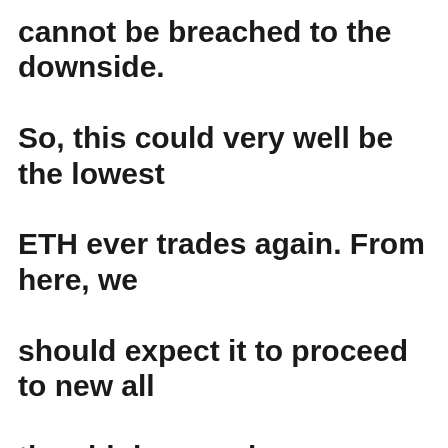cannot be breached to the downside. So, this could very well be the lowest ETH ever trades again. From here, we should expect it to proceed to new all time highs as primary wave [3] completes if final intermediate wave. Cryptos typically have very impulsive fifth waves. This should bode well for